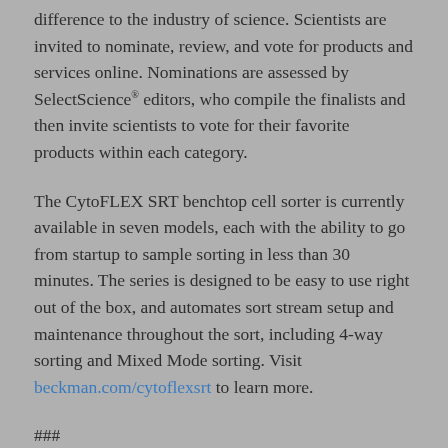difference to the industry of science. Scientists are invited to nominate, review, and vote for products and services online. Nominations are assessed by SelectScience® editors, who compile the finalists and then invite scientists to vote for their favorite products within each category.
The CytoFLEX SRT benchtop cell sorter is currently available in seven models, each with the ability to go from startup to sample sorting in less than 30 minutes. The series is designed to be easy to use right out of the box, and automates sort stream setup and maintenance throughout the sort, including 4-way sorting and Mixed Mode sorting. Visit beckman.com/cytoflexsrt to learn more.
###